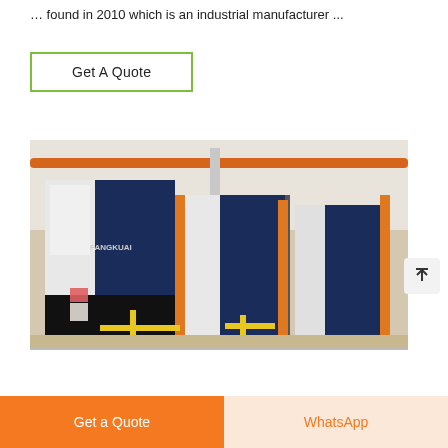… found in 2010 which is an industrial manufacturer ...
Get A Quote
[Figure (photo): Industrial boiler room with multiple large FANGKUAI branded blue and white gas boilers connected by orange/yellow gas piping infrastructure.]
Get a Quote
WhatsApp